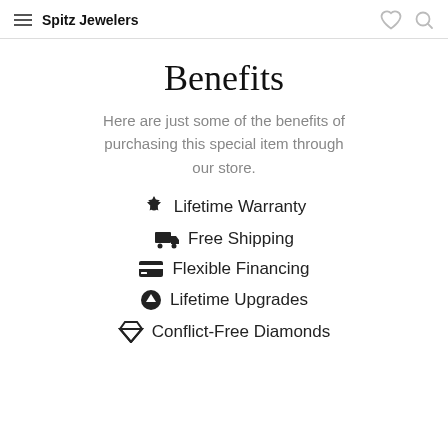Spitz Jewelers
Benefits
Here are just some of the benefits of purchasing this special item through our store.
Lifetime Warranty
Free Shipping
Flexible Financing
Lifetime Upgrades
Conflict-Free Diamonds